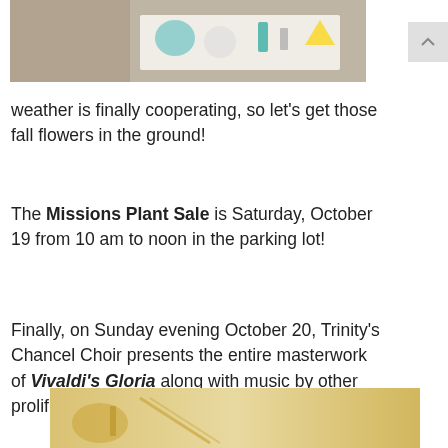[Figure (photo): Partial view of a photo showing colorful items on a white background, likely craft or garden-related objects]
weather is finally cooperating, so let’s get those fall flowers in the ground!
The Missions Plant Sale is Saturday, October 19 from 10 am to noon in the parking lot!
Finally, on Sunday evening October 20, Trinity’s Chancel Choir presents the entire masterwork of Vivaldi’s Gloria along with music by other prolific
[Figure (photo): Bottom portion of a Vivaldi concert promotional image with gold/tan background and the word VIVALDI in large text]